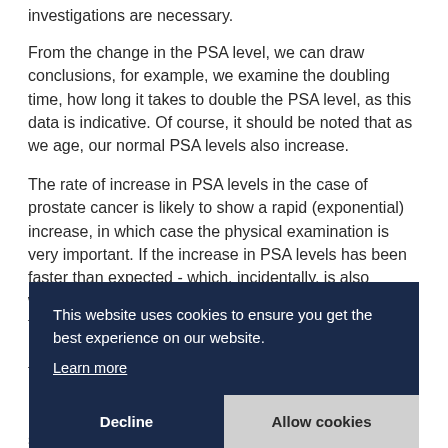investigations are necessary.
From the change in the PSA level, we can draw conclusions, for example, we examine the doubling time, how long it takes to double the PSA level, as this data is indicative. Of course, it should be noted that as we age, our normal PSA levels also increase.
The rate of increase in PSA levels in the case of prostate cancer is likely to show a rapid (exponential) increase, in which case the physical examination is very important. If the increase in PSA levels has been faster than expected - which, incidentally, is also w... t... M... tu... le... U... s... only confirm the suspicion, and a malignancy can only be confirmed with a biopsy. The result of a tissue
This website uses cookies to ensure you get the best experience on our website.
Learn more
Decline
Allow cookies